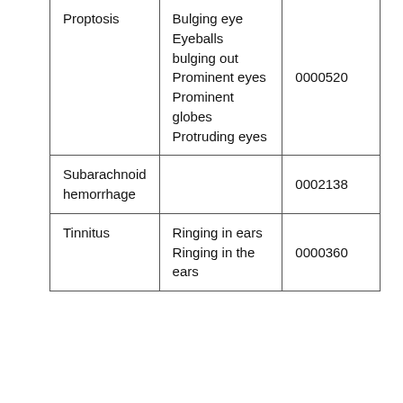| Proptosis | Bulging eye
Eyeballs bulging out
Prominent eyes
Prominent globes
Protruding eyes | 0000520 |
| Subarachnoid hemorrhage |  | 0002138 |
| Tinnitus | Ringing in ears
Ringing in the ears | 0000360 |